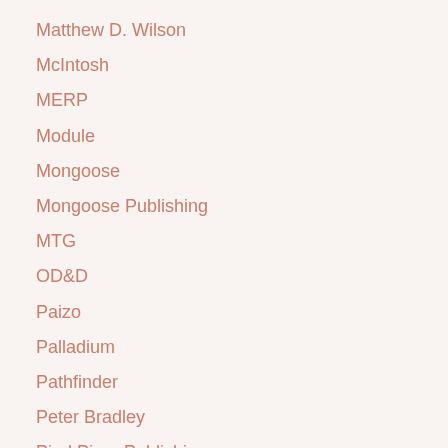Matthew D. Wilson
McIntosh
MERP
Module
Mongoose
Mongoose Publishing
MTG
OD&D
Paizo
Palladium
Pathfinder
Peter Bradley
Pied Piper Publishing
Planescape